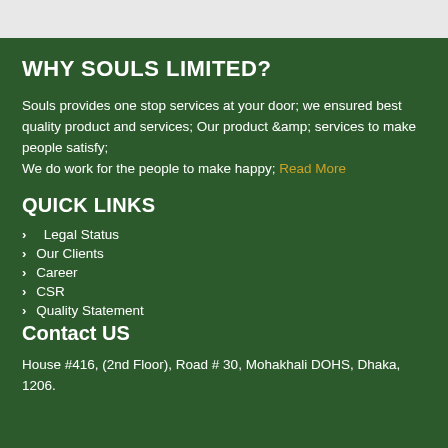WHY SOULS LIMITED?
Souls provides one stop services at your door; we ensured best quality product and services; Our product &amp; services to make people satisfy; We do work for the people to make happy; Read More
QUICK LINKS
Legal Status
Our Clients
Career
CSR
Quality Statement
Contact US
House #416, (2nd Floor), Road # 30, Mohakhali DOHS, Dhaka, 1206.